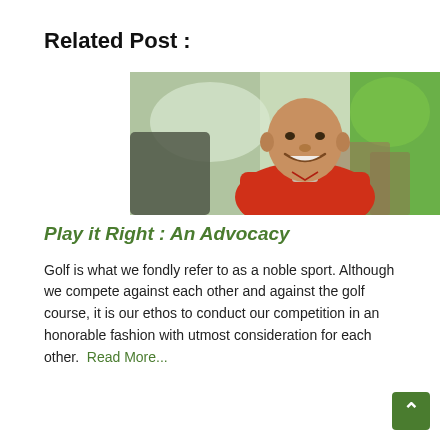Related Post :
[Figure (photo): Photo of a smiling bald man wearing a red polo shirt, seated outdoors near a golf course with green and blurred background]
Play it Right : An Advocacy
Golf is what we fondly refer to as a noble sport. Although we compete against each other and against the golf course, it is our ethos to conduct our competition in an honorable fashion with utmost consideration for each other. Read More...